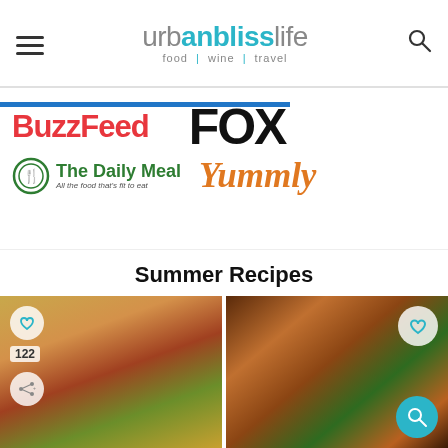urbanblisslife food | wine | travel
[Figure (logo): Featured-in logos: BuzzFeed, FOX, The Daily Meal, Yummly]
Summer Recipes
[Figure (photo): Photo of a burger with bacon, lettuce, tomato and cheese on the left, and grilled chicken skewers on the right]
[Figure (infographic): Advertisement banner: cookies for kids cancer - turn your cookies into a CURE - LEARN HOW]